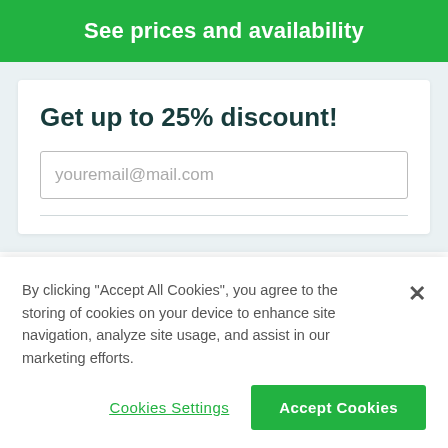See prices and availability
Get up to 25% discount!
youremail@mail.com
By clicking “Accept All Cookies”, you agree to the storing of cookies on your device to enhance site navigation, analyze site usage, and assist in our marketing efforts.
Cookies Settings
Accept Cookies